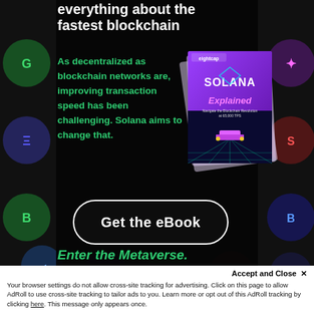everything about the fastest blockchain
As decentralized as blockchain networks are, improving transaction speed has been challenging. Solana aims to change that.
[Figure (illustration): eBook cover titled 'Solana Explained' by Eightcap, showing a car on a neon-lit highway with a futuristic grid landscape background.]
Get the eBook
Enter the Metaverse.
Accept and Close ✕
Your browser settings do not allow cross-site tracking for advertising. Click on this page to allow AdRoll to use cross-site tracking to tailor ads to you. Learn more or opt out of this AdRoll tracking by clicking here. This message only appears once.